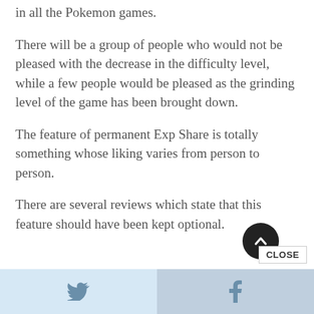in all the Pokemon games.
There will be a group of people who would not be pleased with the decrease in the difficulty level, while a few people would be pleased as the grinding level of the game has been brought down.
The feature of permanent Exp Share is totally something whose liking varies from person to person.
There are several reviews which state that this feature should have been kept optional.